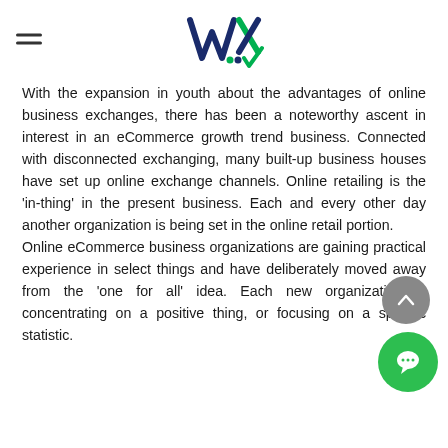WEBMERX
With the expansion in youth about the advantages of online business exchanges, there has been a noteworthy ascent in interest in an eCommerce growth trend business. Connected with disconnected exchanging, many built-up business houses have set up online exchange channels. Online retailing is the 'in-thing' in the present business. Each and every other day another organization is being set in the online retail portion.
Online eCommerce business organizations are gaining practical experience in select things and have deliberately moved away from the 'one for all' idea. Each new organization is concentrating on a positive thing, or focusing on a specific statistic.